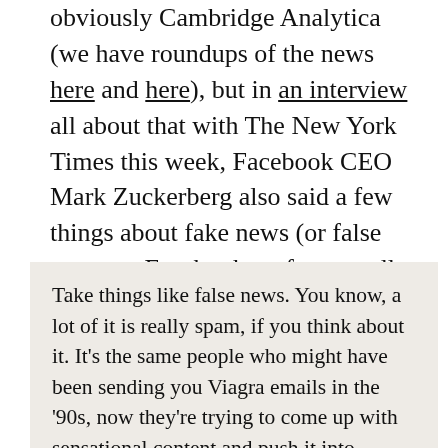obviously Cambridge Analytica (we have roundups of the news here and here), but in an interview all about that with The New York Times this week, Facebook CEO Mark Zuckerberg also said a few things about fake news (or false news, as Facebook prefers to call it). First:
Take things like false news. You know, a lot of it is really spam, if you think about it. It’s the same people who might have been sending you Viagra emails in the ’90s, now they’re trying to come up with sensational content and push it into Facebook and other apps in order to get you to click on it and see ads. There are some pretty basic policy decisions we’ve made, like O.K., if someone’s not being truthful of the content it